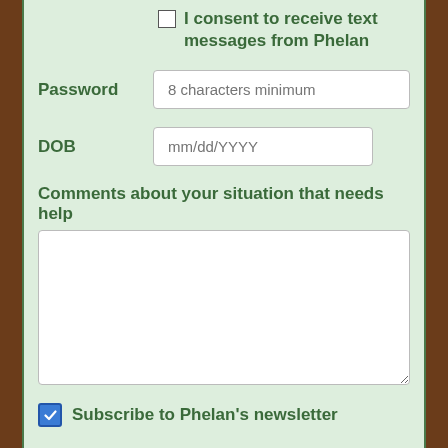I consent to receive text messages from Phelan
Password
8 characters minimum
DOB
mm/dd/YYYY
Comments about your situation that needs help
Subscribe to Phelan's newsletter